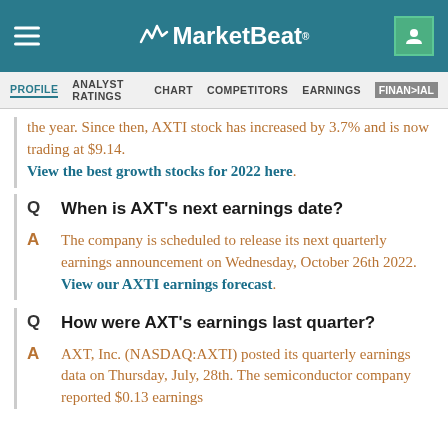MarketBeat
PROFILE  ANALYST RATINGS  CHART  COMPETITORS  EARNINGS  FINANCIAL
the year. Since then, AXTI stock has increased by 3.7% and is now trading at $9.14. View the best growth stocks for 2022 here.
Q  When is AXT's next earnings date?
A  The company is scheduled to release its next quarterly earnings announcement on Wednesday, October 26th 2022. View our AXTI earnings forecast.
Q  How were AXT's earnings last quarter?
A  AXT, Inc. (NASDAQ:AXTI) posted its quarterly earnings data on Thursday, July, 28th. The semiconductor company reported $0.13 earnings